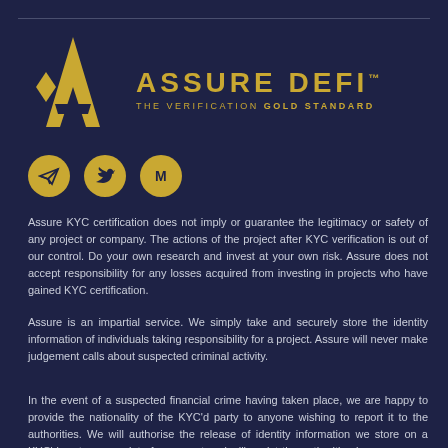[Figure (logo): Assure DeFi logo: gold letter A with star/diamond shape, brand name ASSURE DEFI with TM mark, tagline THE VERIFICATION GOLD STANDARD]
[Figure (infographic): Three gold social media icon circles: Telegram, Twitter, Medium]
Assure KYC certification does not imply or guarantee the legitimacy or safety of any project or company. The actions of the project after KYC verification is out of our control. Do your own research and invest at your own risk. Assure does not accept responsibility for any losses acquired from investing in projects who have gained KYC certification.
Assure is an impartial service. We simply take and securely store the identity information of individuals taking responsibility for a project. Assure will never make judgement calls about suspected criminal activity.
In the event of a suspected financial crime having taken place, we are happy to provide the nationality of the KYC'd party to anyone wishing to report it to the authorities. We will authorise the release of identity information we store on a KYC'd party on receipt of a warrant and will assist the authorities in any way we can in